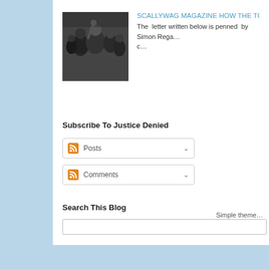[Figure (photo): Black and white photograph of a group of people at what appears to be a social event]
SCALLYWAG MAGAZINE HOW THE TORY'S COV...
The  letter written below is penned  by Simon Rega... c...
Subscribe To Justice Denied
Posts (dropdown)
Comments (dropdown)
Search This Blog
Simple theme...